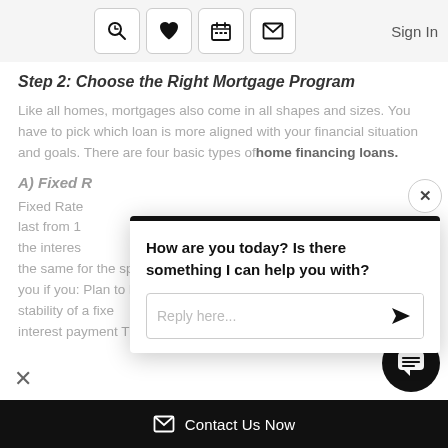Sign In
Step 2: Choose the Right Mortgage Program
Like all homes, mortgages also come in all shapes and sizes. You have to pick which loan is more aligned with your financial situation and goals. There are four basic types of home financing loans.
A) Fixed R...
Fixed Rate... last from 1... the interes... the same for the specified term. This type of loan should appeal to you if you: Plan to live in the home for more than 5 years Like the stability of a fixed interest payment Think your income and spe...
[Figure (screenshot): Chat popup overlay with message 'How are you today? Is there something I can help you with?' and a reply input field with send button. Has a close X button in top right corner.]
[Figure (other): Circular chat bubble button with speech bubble icon (hamburger lines), dark background, positioned bottom right]
Contact Us Now